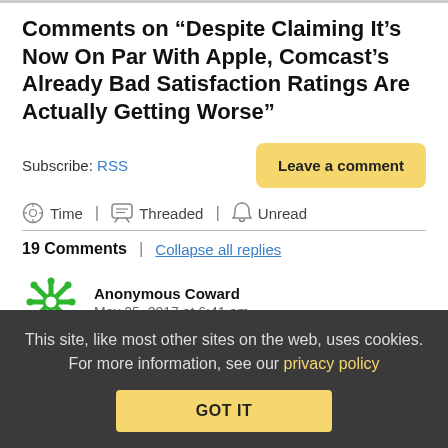Comments on “Despite Claiming It's Now On Par With Apple, Comcast's Already Bad Satisfaction Ratings Are Actually Getting Worse”
Subscribe: RSS
Leave a comment
Time | Threaded | Unread
19 Comments | Collapse all replies
Anonymous Coward   May 25, 2017 at 6:41 am
This site, like most other sites on the web, uses cookies. For more information, see our privacy policy
GOT IT